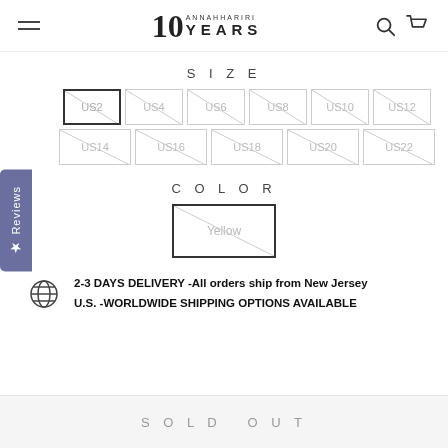10 ANNAHHARIRI YEARS
SIZE
US2, US4, US6, US8, US10, US12, US14, US16, US18, US20, US22 (size buttons, all sold out, US2 selected)
COLOR
Yellow (selected, sold out)
2-3 DAYS DELIVERY -All orders ship from New Jersey U.S. -WORLDWIDE SHIPPING OPTIONS AVAILABLE
SOLD OUT